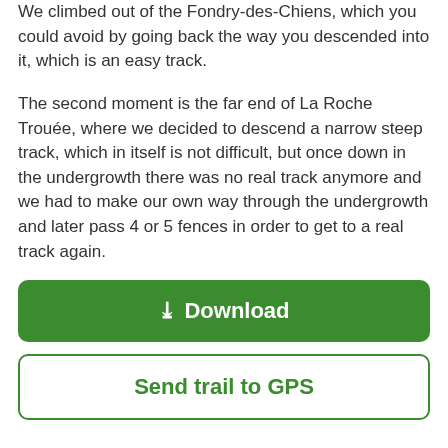We climbed out of the Fondry-des-Chiens, which you could avoid by going back the way you descended into it, which is an easy track.
The second moment is the far end of La Roche Trouée, where we decided to descend a narrow steep track, which in itself is not difficult, but once down in the undergrowth there was no real track anymore and we had to make our own way through the undergrowth and later pass 4 or 5 fences in order to get to a real track again.
Download
Send trail to GPS